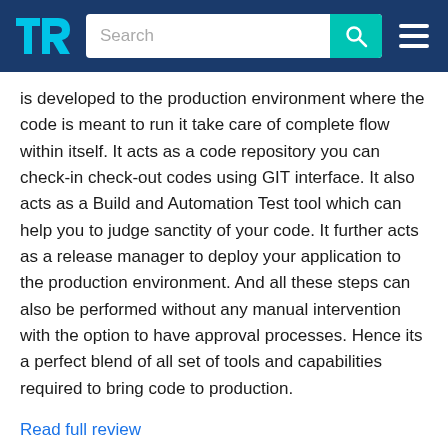TrustRadius — Search bar and navigation
is developed to the production environment where the code is meant to run it take care of complete flow within itself. It acts as a code repository you can check-in check-out codes using GIT interface. It also acts as a Build and Automation Test tool which can help you to judge sanctity of your code. It further acts as a release manager to deploy your application to the production environment. And all these steps can also be performed without any manual intervention with the option to have approval processes. Hence its a perfect blend of all set of tools and capabilities required to bring code to production.
Read full review